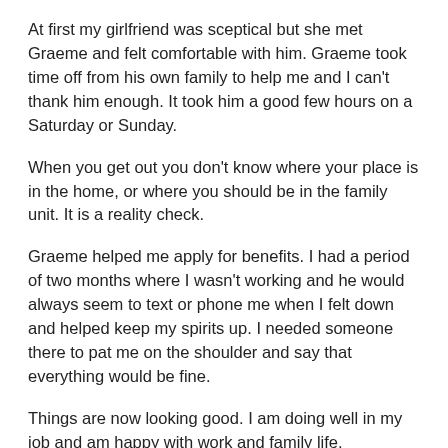At first my girlfriend was sceptical but she met Graeme and felt comfortable with him. Graeme took time off from his own family to help me and I can't thank him enough. It took him a good few hours on a Saturday or Sunday.
When you get out you don't know where your place is in the home, or where you should be in the family unit. It is a reality check.
Graeme helped me apply for benefits. I had a period of two months where I wasn't working and he would always seem to text or phone me when I felt down and helped keep my spirits up. I needed someone there to pat me on the shoulder and say that everything would be fine.
Things are now looking good. I am doing well in my job and am happy with work and family life. Everything happens for a reason but there's no return to prison for me.”
Tips for practitioners when working with offenders and